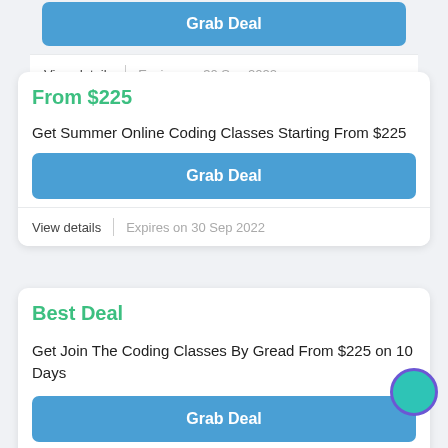Grab Deal
View details
Expires on 30 Sep 2022
From $225
Get Summer Online Coding Classes Starting From $225
Grab Deal
View details
Expires on 30 Sep 2022
Best Deal
Get Join The Coding Classes By Gread From $225 on 10 Days
Grab Deal
View details
Expires on 30 Sep 2022